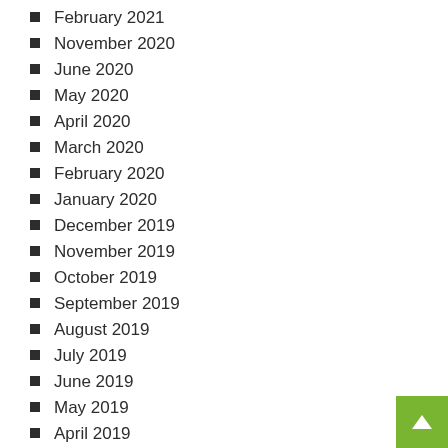February 2021
November 2020
June 2020
May 2020
April 2020
March 2020
February 2020
January 2020
December 2019
November 2019
October 2019
September 2019
August 2019
July 2019
June 2019
May 2019
April 2019